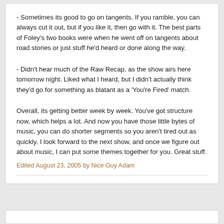- Sometimes its good to go on tangents. If you ramble, you can always cut it out, but if you like it, then go with it. The best parts of Foley's two books were when he went off on tangents about road stories or just stuff he'd heard or done along the way.
- Didn't hear much of the Raw Recap, as the show airs here tomorrow night. Liked what I heard, but I didn't actually think they'd go for something as blatant as a 'You're Fired' match.
Overall, its getting better week by week. You've got structure now, which helps a lot. And now you have those little bytes of music, you can do shorter segments so you aren't tired out as quickly. I look forward to the next show, and once we figure out about music, I can put some themes together for you. Great stuff.
Edited August 23, 2005 by Nice Guy Adam